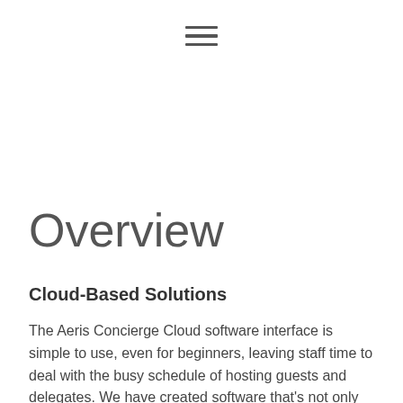[hamburger menu icon]
Overview
Cloud-Based Solutions
The Aeris Concierge Cloud software interface is simple to use, even for beginners, leaving staff time to deal with the busy schedule of hosting guests and delegates. We have created software that's not only easy to use but provides great functionality that is completely flexible.
Being Cloud-based, users are able to update, add and edit events or